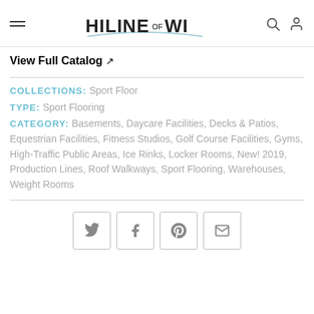HILINE OF WI
View Full Catalog ↗
COLLECTIONS: Sport Floor
TYPE: Sport Flooring
CATEGORY: Basements, Daycare Facilities, Decks & Patios, Equestrian Facilities, Fitness Studios, Golf Course Facilities, Gyms, High-Traffic Public Areas, Ice Rinks, Locker Rooms, New! 2019, Production Lines, Roof Walkways, Sport Flooring, Warehouses, Weight Rooms
[Figure (other): Social share buttons: Twitter, Facebook, Pinterest, Email]